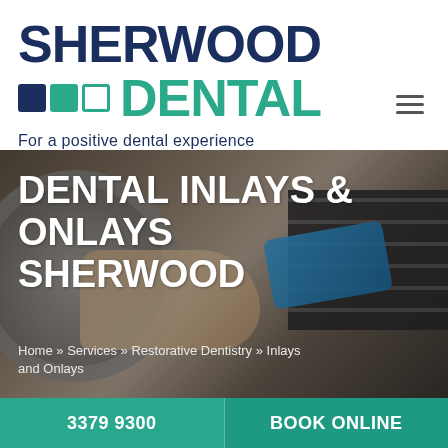[Figure (logo): Sherwood Dental logo with dark navy 'SHERWOOD' text, teal 'DENTAL' text, two colored squares and one outline square icon]
For a positive dental experience
[Figure (photo): Background hero image showing dental sterilization equipment (autoclave), hands holding a blue dental device, with text overlay 'DENTAL INLAYS & ONLAYS SHERWOOD']
DENTAL INLAYS & ONLAYS SHERWOOD
Home » Services » Restorative Dentistry » Inlays and Onlays
3379 9300
BOOK ONLINE